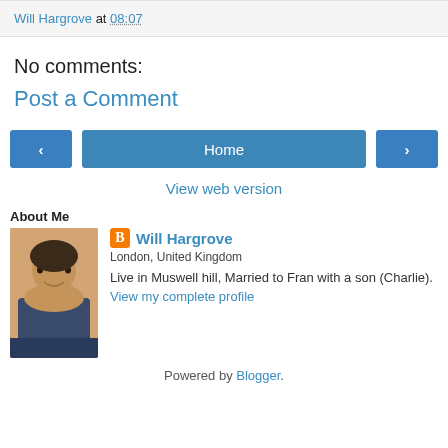Will Hargrove at 08:07
No comments:
Post a Comment
‹   Home   ›
View web version
About Me
[Figure (photo): Profile photo of Will Hargrove, a man with dark hair]
Will Hargrove
London, United Kingdom
Live in Muswell hill, Married to Fran with a son (Charlie).
View my complete profile
Powered by Blogger.